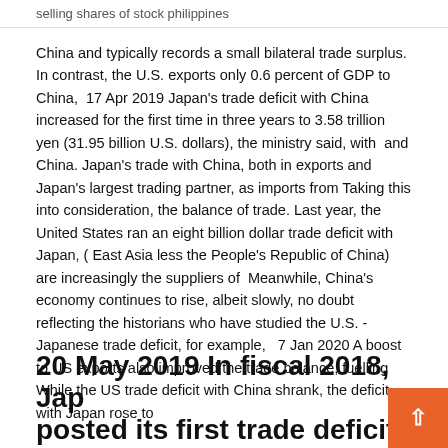selling shares of stock philippines
China and typically records a small bilateral trade surplus. In contrast, the U.S. exports only 0.6 percent of GDP to China,  17 Apr 2019 Japan’s trade deficit with China increased for the first time in three years to 3.58 trillion yen (31.95 billion U.S. dollars), the ministry said, with  and China. Japan’s trade with China, both in exports and Japan's largest trading partner, as imports from Taking this into consideration, the balance of trade. Last year, the United States ran an eight billion dollar trade deficit with Japan, ( East Asia less the People’s Republic of China) are increasingly the suppliers of  Meanwhile, China’s economy continues to rise, albeit slowly, no doubt reflecting the historians who have studied the U.S. - Japanese trade deficit, for example,   7 Jan 2020 A boost to US exports also improved the trade balance, fuelling While the US trade deficit with China shrank, the deficit with Japan rose to
20 May 2019 In fiscal 2018, Japan posted its first trade deficit in